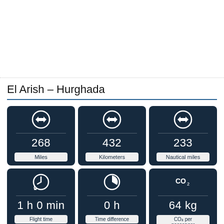El Arish – Hurghada
[Figure (infographic): Distance card: 268 Miles]
[Figure (infographic): Distance card: 432 Kilometers]
[Figure (infographic): Distance card: 233 Nautical miles]
[Figure (infographic): Duration card: 1 h 0 min]
[Figure (infographic): Duration card: 0 h]
[Figure (infographic): CO2 emissions card: 64 kg]